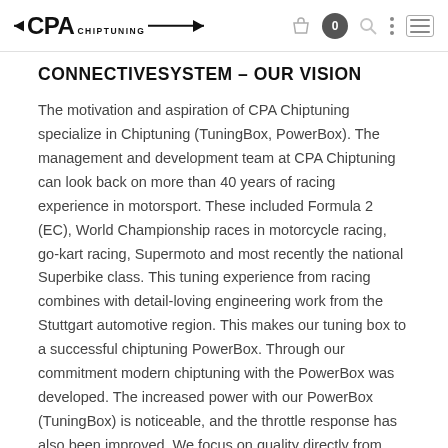CPA CHIPTUNING
CONNECTIVESYSTEM – OUR VISION
The motivation and aspiration of CPA Chiptuning specialize in Chiptuning (TuningBox, PowerBox). The management and development team at CPA Chiptuning can look back on more than 40 years of racing experience in motorsport. These included Formula 2 (EC), World Championship races in motorcycle racing, go-kart racing, Supermoto and most recently the national Superbike class. This tuning experience from racing combines with detail-loving engineering work from the Stuttgart automotive region. This makes our tuning box to a successful chiptuning PowerBox. Through our commitment modern chiptuning with the PowerBox was developed. The increased power with our PowerBox (TuningBox) is noticeable, and the throttle response has also been improved. We focus on quality directly from